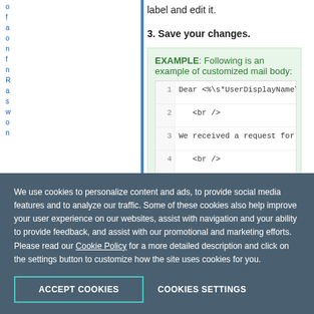label and edit it.
3. Save your changes.
EXAMPLE: Following is an example of customized mail body:
[Figure (screenshot): Code block showing numbered lines of HTML email template code. Line 1: Dear <%\s*UserDisplayName\s, Line 2: <br />, Line 3: We received a request for p, Line 4: <br />, Line 5: <a href="<%\s*ConfirmationU, Line 6: <br />]
We use cookies to personalize content and ads, to provide social media features and to analyze our traffic. Some of these cookies also help improve your user experience on our websites, assist with navigation and your ability to provide feedback, and assist with our promotional and marketing efforts. Please read our Cookie Policy for a more detailed description and click on the settings button to customize how the site uses cookies for you.
ACCEPT COOKIES
COOKIES SETTINGS